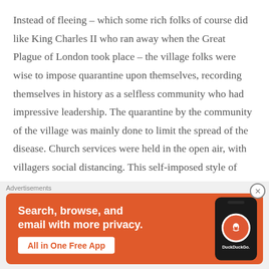Instead of fleeing – which some rich folks of course did like King Charles II who ran away when the Great Plague of London took place – the village folks were wise to impose quarantine upon themselves, recording themselves in history as a selfless community who had impressive leadership. The quarantine by the community of the village was mainly done to limit the spread of the disease. Church services were held in the open air, with villagers social distancing. This self-imposed style of quarantine of Eyam Village is undoubtedly the main
[Figure (other): DuckDuckGo advertisement banner with orange background. Text reads: 'Search, browse, and email with more privacy. All in One Free App' with a DuckDuckGo logo and a phone mockup on the right side. Labeled 'Advertisements' above.]